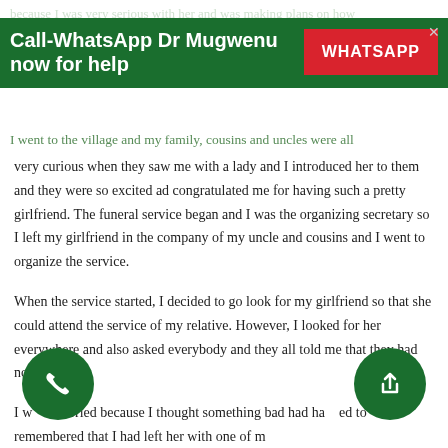because I was very serious with her and was making plans on how
[Figure (infographic): Green WhatsApp promotional banner with text 'Call-WhatsApp Dr Mugwenu now for help' and a red WHATSAPP button, with a close X in the top right corner.]
I went to the village and my family, cousins and uncles were all very curious when they saw me with a lady and I introduced her to them and they were so excited ad congratulated me for having such a pretty girlfriend. The funeral service began and I was the organizing secretary so I left my girlfriend in the company of my uncle and cousins and I went to organize the service.
When the service started, I decided to go look for my girlfriend so that she could attend the service of my relative. However, I looked for her everywhere and also asked everybody and they all told me that they had not seen her.
I was worried because I thought something bad had happened to her then remembered that I had left her with one of my cousins who loved to seduce young women. I rushed to his house hoping